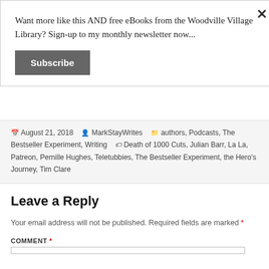Want more like this AND free eBooks from the Woodville Village Library? Sign-up to my monthly newsletter now...
Subscribe
August 21, 2018 · MarkStayWrites · authors, Podcasts, The Bestseller Experiment, Writing · Death of 1000 Cuts, Julian Barr, La La, Patreon, Pernille Hughes, Teletubbies, The Bestseller Experiment, the Hero's Journey, Tim Clare
Leave a Reply
Your email address will not be published. Required fields are marked *
COMMENT *